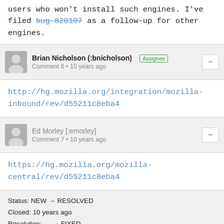users who won't install such engines. I've filed bug 820107 as a follow-up for other engines.
Brian Nicholson (:bnicholson) [Assignee] Comment 6 • 10 years ago
http://hg.mozilla.org/integration/mozilla-inbound/rev/d55211c8eba4
Ed Morley [:emorley] Comment 7 • 10 years ago
https://hg.mozilla.org/mozilla-central/rev/d55211c8eba4
Status: NEW → RESOLVED
Closed: 10 years ago
Resolution: --- → FIXED
Target Milestone: --- → Firefox 20